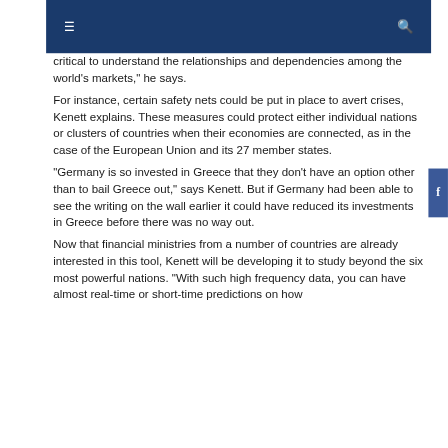≡  🔍
critical to understand the relationships and dependencies among the world's markets," he says.
For instance, certain safety nets could be put in place to avert crises, Kenett explains. These measures could protect either individual nations or clusters of countries when their economies are connected, as in the case of the European Union and its 27 member states.
"Germany is so invested in Greece that they don't have an option other than to bail Greece out," says Kenett. But if Germany had been able to see the writing on the wall earlier it could have reduced its investments in Greece before there was no way out.
Now that financial ministries from a number of countries are already interested in this tool, Kenett will be developing it to study beyond the six most powerful nations. "With such high frequency data, you can have almost real-time or short-time predictions on how